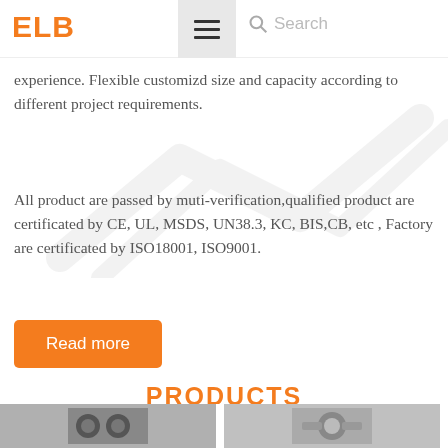ELB
experience. Flexible customizd size and capacity according to different project requirements.
All product are passed by muti-verification,qualified product are certificated by CE, UL, MSDS, UN38.3, KC, BIS,CB, etc , Factory are certificated by ISO18001, ISO9001.
Read more
PRODUCTS
[Figure (photo): Product image strip at bottom of page showing two product photos]